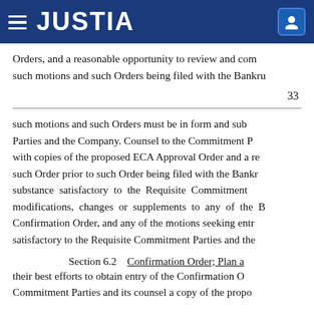JUSTIA
Orders, and a reasonable opportunity to review and com such motions and such Orders being filed with the Bankru
33
such motions and such Orders must be in form and sub Parties and the Company. Counsel to the Commitment P with copies of the proposed ECA Approval Order and a re such Order prior to such Order being filed with the Bankr substance satisfactory to the Requisite Commitment modifications, changes or supplements to any of the B Confirmation Order, and any of the motions seeking entr satisfactory to the Requisite Commitment Parties and the
Section 6.2    Confirmation Order; Plan a their best efforts to obtain entry of the Confirmation O Commitment Parties and its counsel a copy of the propo